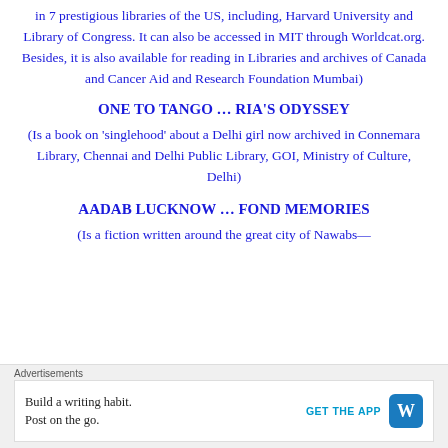in 7 prestigious libraries of the US, including, Harvard University and Library of Congress. It can also be accessed in MIT through Worldcat.org. Besides, it is also available for reading in Libraries and archives of Canada and Cancer Aid and Research Foundation Mumbai)
ONE TO TANGO … RIA'S ODYSSEY
(Is a book on 'singlehood' about a Delhi girl now archived in Connemara Library, Chennai and Delhi Public Library, GOI, Ministry of Culture, Delhi)
AADAB LUCKNOW … FOND MEMORIES
(Is a fiction written around the great city of Nawabs—
Advertisements
[Figure (other): WordPress app advertisement banner: 'Build a writing habit. Post on the go.' with GET THE APP button and WordPress logo icon]